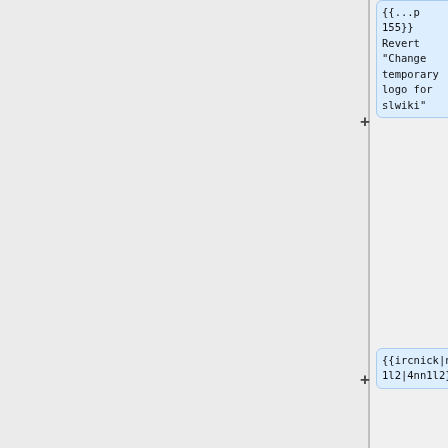{{...p 155}} Revert "Change temporary logo for slwiki"
{{ircnick|nn1l2|4nn1l2}}
* [config] {{gerrit|768710}} etwikiquote: Update logo
* [config] {{gerrit|768718}} fawiki: Disable creating